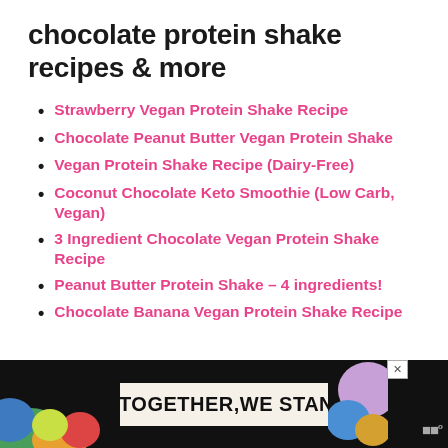chocolate protein shake recipes & more
Strawberry Vegan Protein Shake Recipe
Chocolate Peanut Butter Vegan Protein Shake
Vegan Protein Shake Recipe (Dairy-Free)
Coconut Chocolate Keto Smoothie (Low Carb, Vegan)
3 Ingredient Chocolate Vegan Protein Shake Recipe
Peanut Butter Protein Shake – 4 ingredients!
Chocolate Banana Vegan Protein Shake Recipe
[Figure (infographic): Advertisement banner at bottom of page with dark background, colorful illustration on left, a speech bubble with 'TOGETHER, WE STAND' text, close button, and a logo icon on right]